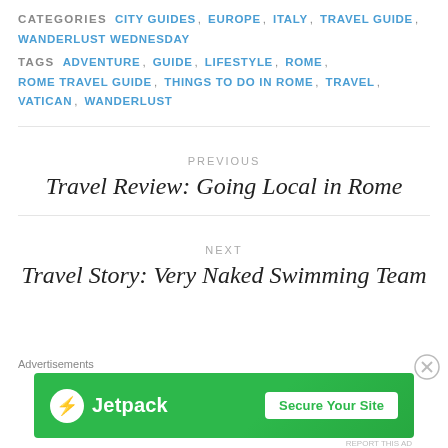CATEGORIES  CITY GUIDES, EUROPE, ITALY, TRAVEL GUIDE, WANDERLUST WEDNESDAY
TAGS  ADVENTURE, GUIDE, LIFESTYLE, ROME, ROME TRAVEL GUIDE, THINGS TO DO IN ROME, TRAVEL, VATICAN, WANDERLUST
PREVIOUS
Travel Review: Going Local in Rome
NEXT
Travel Story: Very Naked Swimming Team
Advertisements
[Figure (other): Jetpack advertisement banner with green background, Jetpack logo on left, and 'Secure Your Site' button on right]